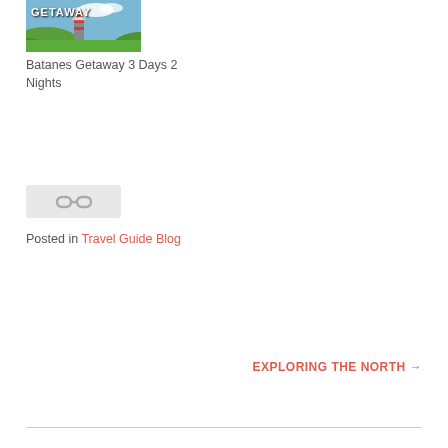[Figure (photo): Thumbnail image of Batanes Getaway with text GETAWAY overlaid, showing a lighthouse and green landscape]
Batanes Getaway 3 Days 2 Nights
[Figure (other): Gray placeholder image with a link/chain icon]
Posted in Travel Guide Blog
EXPLORING THE NORTH →